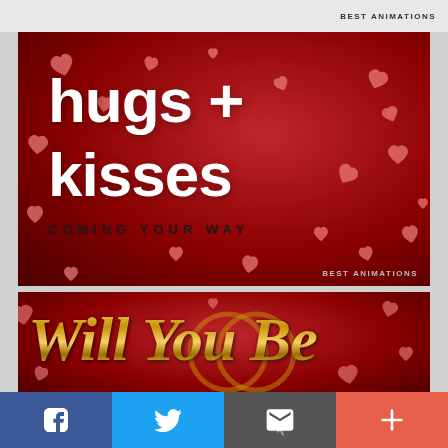BEST ANIMATIONS
[Figure (illustration): Red background with scattered pink hearts. Large white bold text reads 'hugs + kisses' and below in dark spaced letters 'COMING YOUR WAY'. Watermark 'BEST ANIMATIONS' in bottom right.]
[Figure (illustration): Red background with scattered pink hearts and ring decoration. Gold metallic italic text reads 'Will You Be'.]
[Figure (infographic): Social media sharing bar with four buttons: Facebook (blue, f icon), Twitter (light blue, bird icon), Email (dark grey, envelope icon), More/Plus (coral red, + icon).]